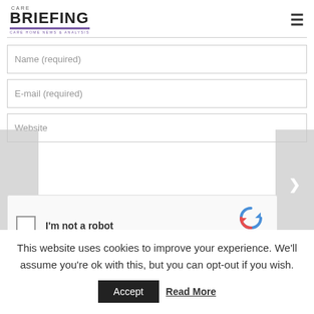Care Briefing - Care Home News & Analysis
Name (required)
E-mail (required)
Website
[Figure (other): reCAPTCHA widget with checkbox labeled I'm not a robot and reCAPTCHA logo with Privacy and Terms links]
This website uses cookies to improve your experience. We'll assume you're ok with this, but you can opt-out if you wish.
Accept
Read More